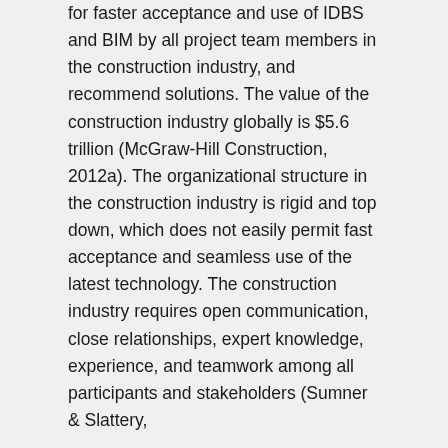for faster acceptance and use of IDBS and BIM by all project team members in the construction industry, and recommend solutions. The value of the construction industry globally is $5.6 trillion (McGraw-Hill Construction, 2012a). The organizational structure in the construction industry is rigid and top down, which does not easily permit fast acceptance and seamless use of the latest technology. The construction industry requires open communication, close relationships, expert knowledge, experience, and teamwork among all participants and stakeholders (Sumner & Slattery,